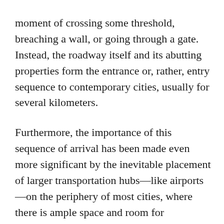moment of crossing some threshold, breaching a wall, or going through a gate. Instead, the roadway itself and its abutting properties form the entrance or, rather, entry sequence to contemporary cities, usually for several kilometers.
Furthermore, the importance of this sequence of arrival has been made even more significant by the inevitable placement of larger transportation hubs—like airports—on the periphery of most cities, where there is ample space and room for expansion. Unfortunately, through these entry roadway environments rarely receive explicit design attention, as did the often splendid city gates of the past, and often remain in a poorly-considered and circumstantial state. (Its as if visitors are expected to